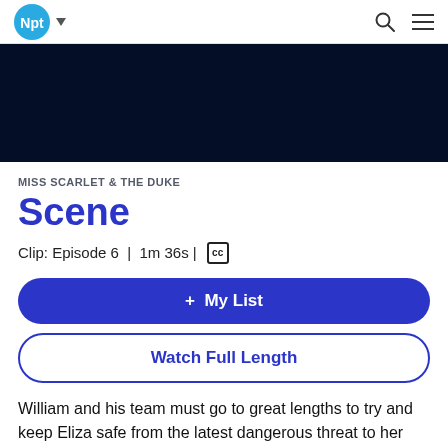Npt (logo) | Search | Menu
[Figure (other): Dark navy blue video banner/player area]
MISS SCARLET & THE DUKE
Scene
Clip: Episode 6 | 1m 36s | CC
+ My List
Watch Full Length
William and his team must go to great lengths to try and keep Eliza safe from the latest dangerous threat to her life.